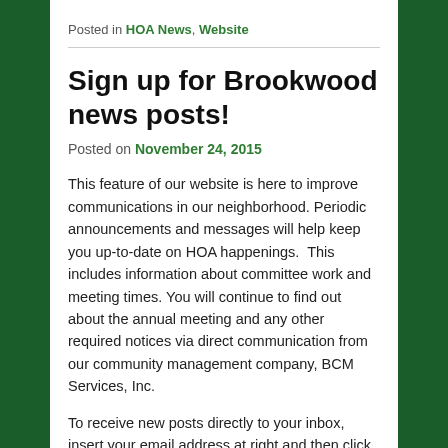Posted in HOA News, Website
Sign up for Brookwood news posts!
Posted on November 24, 2015
This feature of our website is here to improve communications in our neighborhood. Periodic announcements and messages will help keep you up-to-date on HOA happenings.  This includes information about committee work and meeting times. You will continue to find out about the annual meeting and any other required notices via direct communication from our community management company, BCM Services, Inc.
To receive new posts directly to your inbox, insert your email address at right and then click on “Subscribe.”  You will receive an email in a short time asking you to approve